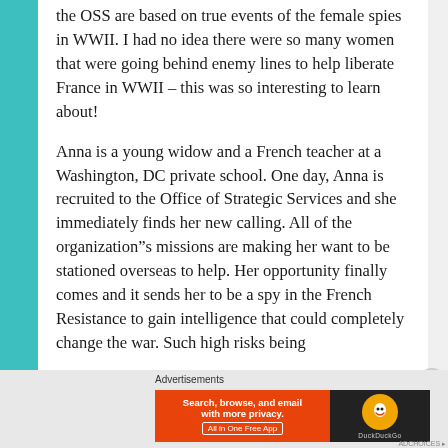the OSS are based on true events of the female spies in WWII. I had no idea there were so many women that were going behind enemy lines to help liberate France in WWII – this was so interesting to learn about!
Anna is a young widow and a French teacher at a Washington, DC private school. One day, Anna is recruited to the Office of Strategic Services and she immediately finds her new calling. All of the organization”s missions are making her want to be stationed overseas to help. Her opportunity finally comes and it sends her to be a spy in the French Resistance to gain intelligence that could completely change the war. Such high risks being
Advertisements
[Figure (screenshot): DuckDuckGo advertisement banner: orange section with text 'Search, browse, and email with more privacy. All in One Free App' and dark section with DuckDuckGo logo]